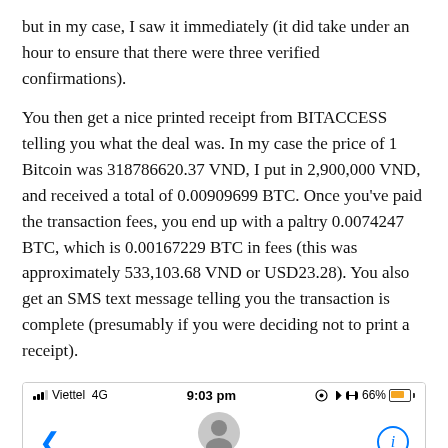but in my case, I saw it immediately (it did take under an hour to ensure that there were three verified confirmations).
You then get a nice printed receipt from BITACCESS telling you what the deal was. In my case the price of 1 Bitcoin was 318786620.37 VND, I put in 2,900,000 VND, and received a total of 0.00909699 BTC. Once you've paid the transaction fees, you end up with a paltry 0.0074247 BTC, which is 0.00167229 BTC in fees (this was approximately 533,103.68 VND or USD23.28). You also get an SMS text message telling you the transaction is complete (presumably if you were deciding not to print a receipt).
[Figure (screenshot): iPhone screenshot showing a contact message screen. Status bar: signal bars, Viettel 4G, 9:03 pm, location/arrow/headphone icons, 66% battery. Navigation bar with back arrow, user avatar icon and +60 11 1722 3360, info button. Divider line. Text Message / Today 8:39 pm label.]